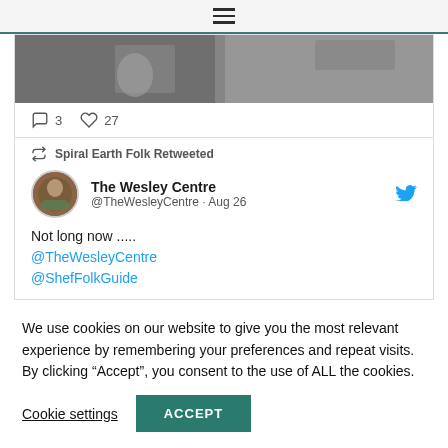hamburger menu icon
[Figure (photo): Black and white photograph partially visible at top of tweet card]
3   27
Spiral Earth Folk Retweeted
The Wesley Centre @TheWesleyCentre · Aug 26
Not long now .....
@TheWesleyCentre
@ShefFolkGuide
We use cookies on our website to give you the most relevant experience by remembering your preferences and repeat visits. By clicking “Accept”, you consent to the use of ALL the cookies.
Cookie settings
ACCEPT